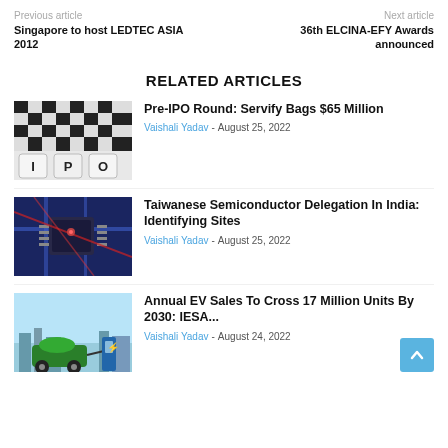Previous article | Next article
Singapore to host LEDTEC ASIA 2012
36th ELCINA-EFY Awards announced
RELATED ARTICLES
[Figure (photo): Chess board with IPO letter blocks]
Pre-IPO Round: Servify Bags $65 Million
Vaishali Yadav - August 25, 2022
[Figure (photo): Blue circuit board close-up]
Taiwanese Semiconductor Delegation In India: Identifying Sites
Vaishali Yadav - August 25, 2022
[Figure (photo): Electric vehicle charging illustration]
Annual EV Sales To Cross 17 Million Units By 2030: IESA...
Vaishali Yadav - August 24, 2022